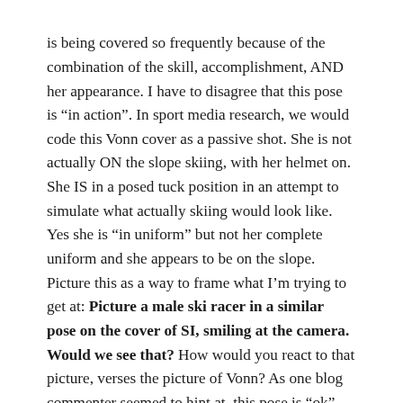is being covered so frequently because of the combination of the skill, accomplishment, AND her appearance. I have to disagree that this pose is "in action". In sport media research, we would code this Vonn cover as a passive shot. She is not actually ON the slope skiing, with her helmet on. She IS in a posed tuck position in an attempt to simulate what actually skiing would look like. Yes she is "in uniform" but not her complete uniform and she appears to be on the slope. Picture this as a way to frame what I'm trying to get at: Picture a male ski racer in a similar pose on the cover of SI, smiling at the camera. Would we see that? How would you react to that picture, verses the picture of Vonn? As one blog commenter seemed to hint at, this pose is "ok" because she is hot and sexy, so she is nice to look at. How would "we" feel if the female skier did not meet normative standards of feminine attractiveness (i.e., she was "ugly") and was in the same